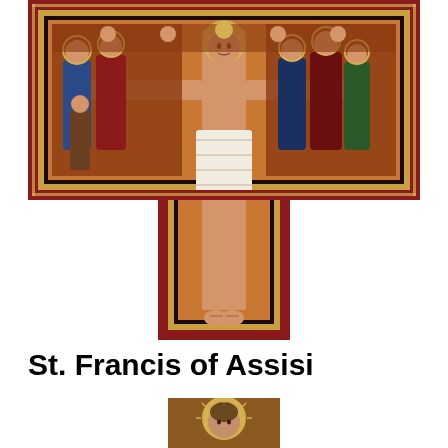[Figure (illustration): San Damiano Cross — a medieval painted crucifix in the tau (T-cross) shape. The upper horizontal bar shows Christ crucified in the center, flanked by groups of mourning figures on left and right panels with red and gold ornamental borders. The vertical beam extends downward showing Christ's full body with white loincloth and bare feet. The cross has decorative red and gold scalloped borders throughout. Background is white where the cross shape cuts out.]
St. Francis of Assisi
[Figure (illustration): Small medieval icon depicting St. Francis of Assisi with a halo, wearing brown robes, shown from the shoulders up against a gold background.]